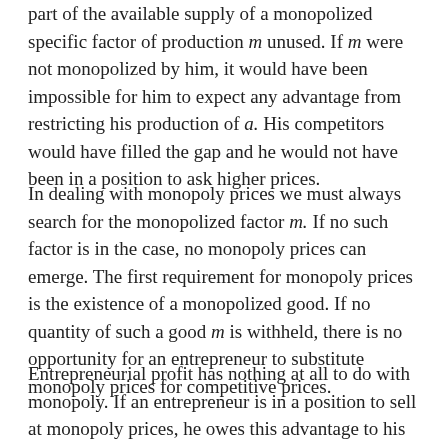part of the available supply of a monopolized specific factor of production m unused. If m were not monopolized by him, it would have been impossible for him to expect any advantage from restricting his production of a. His competitors would have filled the gap and he would not have been in a position to ask higher prices.
In dealing with monopoly prices we must always search for the monopolized factor m. If no such factor is in the case, no monopoly prices can emerge. The first requirement for monopoly prices is the existence of a monopolized good. If no quantity of such a good m is withheld, there is no opportunity for an entrepreneur to substitute monopoly prices for competitive prices.
Entrepreneurial profit has nothing at all to do with monopoly. If an entrepreneur is in a position to sell at monopoly prices, he owes this advantage to his monopoly with regard to a monopolized factor m. He earns the specific monopoly gain from his monopoly of a most favored. If no entrepreneur would